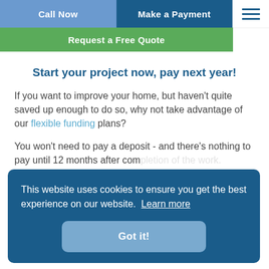Call Now | Make a Payment | Request a Free Quote
Start your project now, pay next year!
If you want to improve your home, but haven't quite saved up enough to do so, why not take advantage of our flexible funding plans?
You won't need to pay a deposit - and there's nothing to pay until 12 months after completion of the work.
Turn your dream into a reality today, call...
This website uses cookies to ensure you get the best experience on our website. Learn more
Got it!
< B...